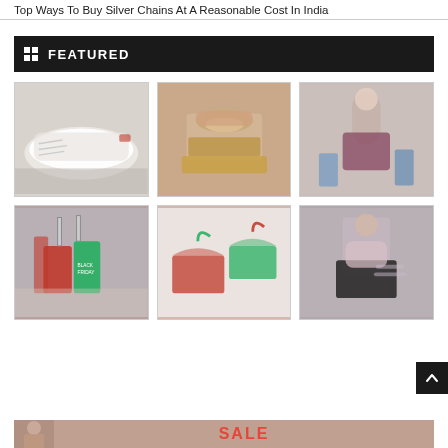Top Ways To Buy Silver Chains At A Reasonable Cost In India
FEATURED
[Figure (photo): White Adidas sneaker close-up]
[Figure (photo): Fluffy pink platform shoe]
[Figure (photo): Woman holding shopping bags outdoors]
[Figure (photo): Person holding Black Friday shopping bags]
[Figure (photo): Wrapped gifts in red and green]
[Figure (photo): Woman in floral jacket sitting on stairs]
[Figure (photo): Bottom banner with person and SALE text]